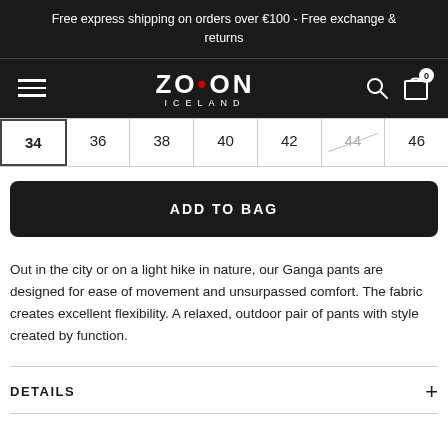Free express shipping on orders over €100 - Free exchange & returns
[Figure (logo): ZO·ON ICELAND brand logo with hamburger menu, search icon and cart icon with 0 badge on dark navigation bar]
| 34 | 36 | 38 | 40 | 42 | 44 | 46 |
| --- | --- | --- | --- | --- | --- | --- |
ADD TO BAG
Out in the city or on a light hike in nature, our Ganga pants are designed for ease of movement and unsurpassed comfort. The fabric creates excellent flexibility. A relaxed, outdoor pair of pants with style created by function.
DETAILS